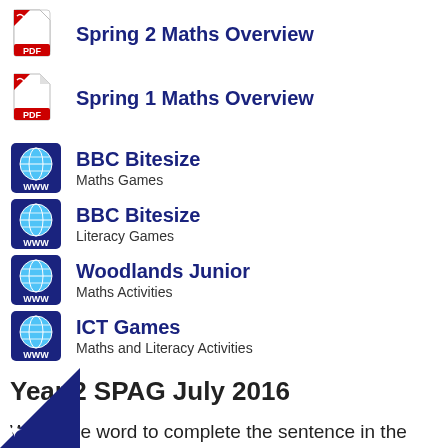Spring 2 Maths Overview
Spring 1 Maths Overview
BBC Bitesize — Maths Games
BBC Bitesize — Literacy Games
Woodlands Junior — Maths Activities
ICT Games — Maths and Literacy Activities
Year 2 SPAG July 2016
Write one word to complete the sentence in the past